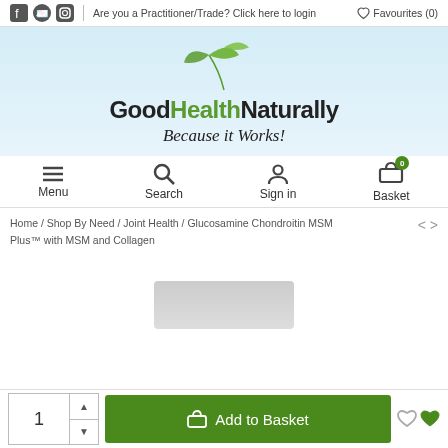Are you a Practitioner/Trade? Click here to login  Favourites (0)
[Figure (logo): Good Health Naturally logo with green leaf and tagline 'Because it Works!']
Menu  Search  Sign in  Basket 0
Home / Shop By Need / Joint Health / Glucosamine Chondroitin MSM Plus™ with MSM and Collagen
[Figure (photo): Product image placeholder for Glucosamine Chondroitin MSM Plus]
1  Add to Basket